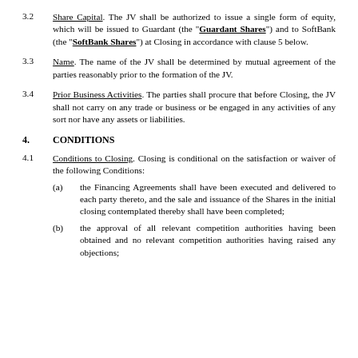3.2 Share Capital. The JV shall be authorized to issue a single form of equity, which will be issued to Guardant (the “Guardant Shares”) and to SoftBank (the “SoftBank Shares”) at Closing in accordance with clause 5 below.
3.3 Name. The name of the JV shall be determined by mutual agreement of the parties reasonably prior to the formation of the JV.
3.4 Prior Business Activities. The parties shall procure that before Closing, the JV shall not carry on any trade or business or be engaged in any activities of any sort nor have any assets or liabilities.
4. CONDITIONS
4.1 Conditions to Closing. Closing is conditional on the satisfaction or waiver of the following Conditions:
(a) the Financing Agreements shall have been executed and delivered to each party thereto, and the sale and issuance of the Shares in the initial closing contemplated thereby shall have been completed;
(b) the approval of all relevant competition authorities having been obtained and no relevant competition authorities having raised any objections;